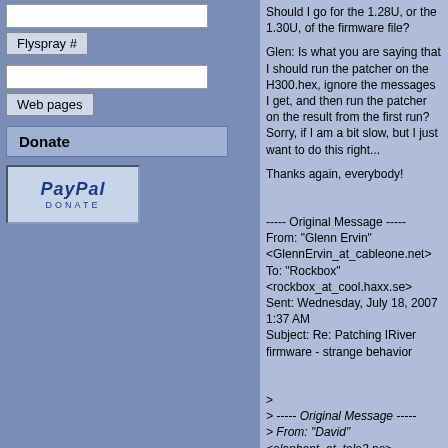[Figure (screenshot): Sidebar with input box, Flyspray # button, input box, Web pages button, Donate button, and PayPal donate button/logo]
Should I go for the 1.28U, or the 1.30U, of the firmware file?

Glen: Is what you are saying that I should run the patcher on the H300.hex, ignore the messages I get, and then run the patcher on the result from the first run? Sorry, if I am a bit slow, but I just want to do this right...

Thanks again, everybody!


----- Original Message -----
From: "Glenn Ervin" <GlennErvin_at_cableone.net>
To: "Rockbox" <rockbox_at_cool.haxx.se>
Sent: Wednesday, July 18, 2007 1:37 AM
Subject: Re: Patching IRiver firmware - strange behavior


>
> ----- Original Message -----
> From: "David" <elephant_at_tele2.no>
> To: "RB Maling List" <rockbox_at_cool.haxx.se>
> Sent: Tuesday, July 17, 2007 6:09 PM
> Subject: Patching IRiver firmware - strange behavior
> >
> >